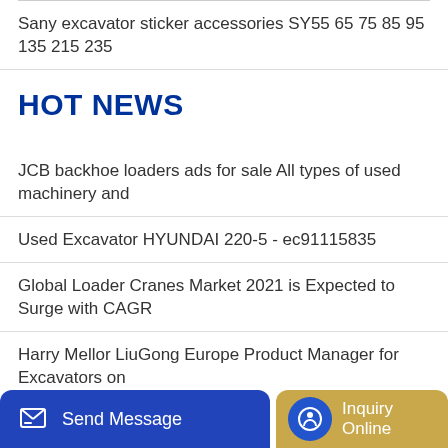Sany excavator sticker accessories SY55 65 75 85 95 135 215 235
HOT NEWS
JCB backhoe loaders ads for sale All types of used machinery and
Used Excavator HYUNDAI 220-5 - ec91115835
Global Loader Cranes Market 2021 is Expected to Surge with CAGR
Harry Mellor LiuGong Europe Product Manager for Excavators on
d Loa
Trailer Truck